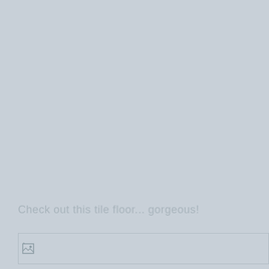Check out this tile floor... gorgeous!
[Figure (photo): Broken image placeholder at bottom of page]